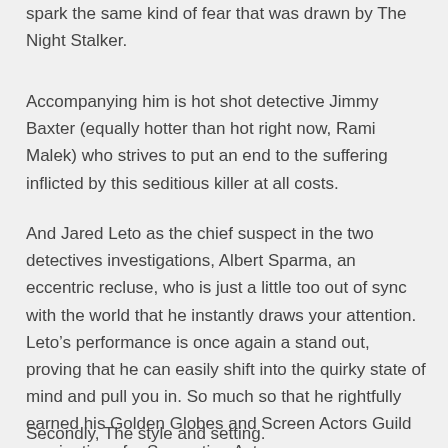spark the same kind of fear that was drawn by The Night Stalker.
Accompanying him is hot shot detective Jimmy Baxter (equally hotter than hot right now, Rami Malek) who strives to put an end to the suffering inflicted by this seditious killer at all costs.
And Jared Leto as the chief suspect in the two detectives investigations, Albert Sparma, an eccentric recluse, who is just a little too out of sync with the world that he instantly draws your attention. Leto’s performance is once again a stand out, proving that he can easily shift into the quirky state of mind and pull you in. So much so that he rightfully earned his Golden Globes and Screen Actors Guild nominations for Supporting Actor.
Secondly, The style and setting.